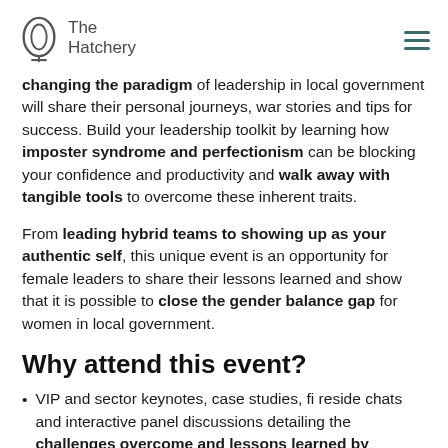The Hatchery
changing the paradigm of leadership in local government will share their personal journeys, war stories and tips for success. Build your leadership toolkit by learning how imposter syndrome and perfectionism can be blocking your confidence and productivity and walk away with tangible tools to overcome these inherent traits.
From leading hybrid teams to showing up as your authentic self, this unique event is an opportunity for female leaders to share their lessons learned and show that it is possible to close the gender balance gap for women in local government.
Why attend this event?
VIP and sector keynotes, case studies, fi reside chats and interactive panel discussions detailing the challenges overcome and lessons learned by women in local government leadership positions